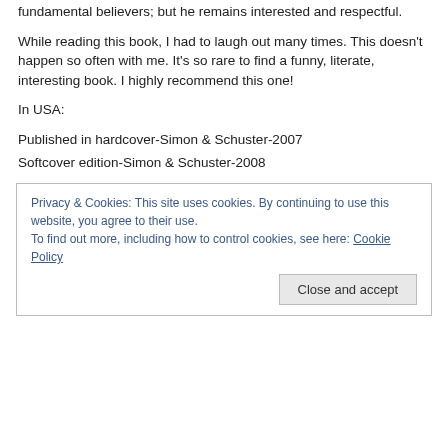fundamental believers; but he remains interested and respectful.
While reading this book, I had to laugh out many times. This doesn't happen so often with me. It's so rare to find a funny, literate, interesting book. I highly recommend this one!
In USA:
Published in hardcover-Simon & Schuster-2007
Softcover edition-Simon & Schuster-2008
Privacy & Cookies: This site uses cookies. By continuing to use this website, you agree to their use.
To find out more, including how to control cookies, see here: Cookie Policy
Close and accept